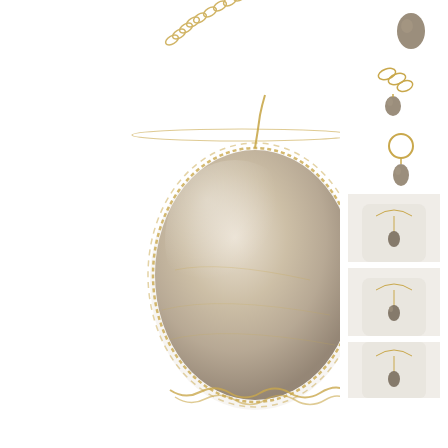[Figure (photo): Close-up macro photo of a large oval/egg-shaped grey moonstone or chalcedony gemstone wrapped in gold wire crochet setting, attached to a gold chain, on white background.]
[Figure (photo): Thumbnail 1: Small oval dark stone pendant close-up on white background.]
[Figure (photo): Thumbnail 2: Gold chain links with small oval pendant, close-up detail shot.]
[Figure (photo): Thumbnail 3: Gold chain ring-clasp with small oval stone pendant hanging below.]
[Figure (photo): Thumbnail 4: Full necklace on white mannequin bust showing pendant hanging from delicate gold chain.]
[Figure (photo): Thumbnail 5: Full necklace on white mannequin bust, slightly different angle.]
[Figure (photo): Thumbnail 6: Full necklace on white mannequin bust, partial view at bottom of page.]